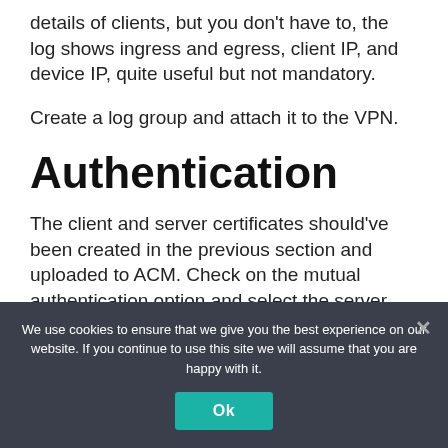details of clients, but you don't have to, the log shows ingress and egress, client IP, and device IP, quite useful but not mandatory.
Create a log group and attach it to the VPN.
Authentication
The client and server certificates should've been created in the previous section and uploaded to ACM. Check on the mutual authentication option and select the server
We use cookies to ensure that we give you the best experience on our website. If you continue to use this site we will assume that you are happy with it.